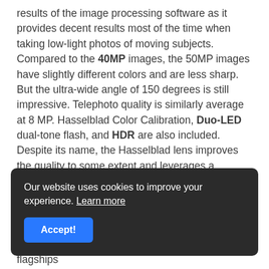results of the image processing software as it provides decent results most of the time when taking low-light photos of moving subjects. Compared to the 40MP images, the 50MP images have slightly different colors and are less sharp. But the ultra-wide angle of 150 degrees is still impressive. Telephoto quality is similarly average at 8 MP. Hasselblad Color Calibration, Duo-LED dual-tone flash, and HDR are also included. Despite its name, the Hasselblad lens improves the quality to some extent and leverages a significant advantage in the production of raw images. The 32MP front-facing camera also produces pretty decent selfies. Besides this, the rear camera allows you to
Our website uses cookies to improve your experience. Learn more
Accept!
flagships